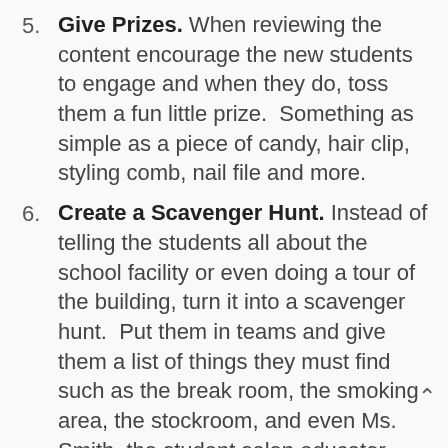Give Prizes. When reviewing the content encourage the new students to engage and when they do, toss them a fun little prize.  Something as simple as a piece of candy, hair clip, styling comb, nail file and more.
Create a Scavenger Hunt. Instead of telling the students all about the school facility or even doing a tour of the building, turn it into a scavenger hunt.  Put them in teams and give them a list of things they must find such as the break room, the smoking area, the stockroom, and even Ms. Smith, the student salon educator.  Give them a time frame and tell them